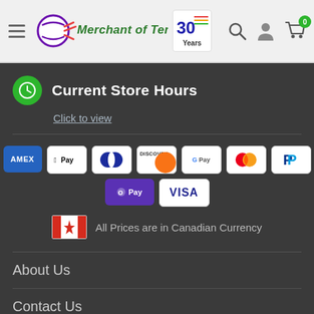Merchant of Tennis — 30 Years header navigation
Current Store Hours
Click to view
[Figure (infographic): Payment method logos: AMEX, Apple Pay, Diners Club, Discover, Google Pay, Mastercard, PayPal, Shop Pay, Visa]
All Prices are in Canadian Currency
About Us
Contact Us
Customer Service